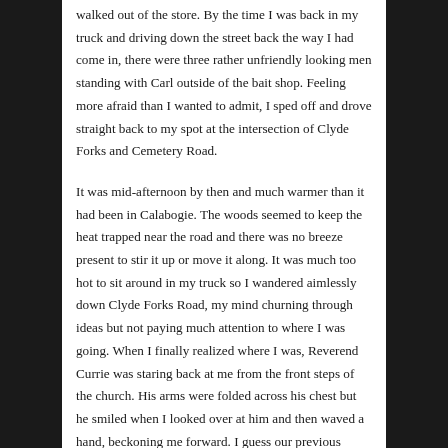walked out of the store.  By the time I was back in my truck and driving down the street back the way I had come in, there were three rather unfriendly looking men standing with Carl outside of the bait shop.  Feeling more afraid than I wanted to admit, I sped off and drove straight back to my spot at the intersection of Clyde Forks and Cemetery Road.
It was mid-afternoon by then and much warmer than it had been in Calabogie.  The woods seemed to keep the heat trapped near the road and there was no breeze present to stir it up or move it along.  It was much too hot to sit around in my truck so I wandered aimlessly down Clyde Forks Road, my mind churning through ideas but not paying much attention to where I was going.  When I finally realized where I was, Reverend Currie was staring back at me from the front steps of the church.  His arms were folded across his chest but he smiled when I looked over at him and then waved a hand, beckoning me forward.  I guess our previous interaction over the bottle of whiskey had not dampened his general hospitality.  I followed him into the church and sat down in a pew, the